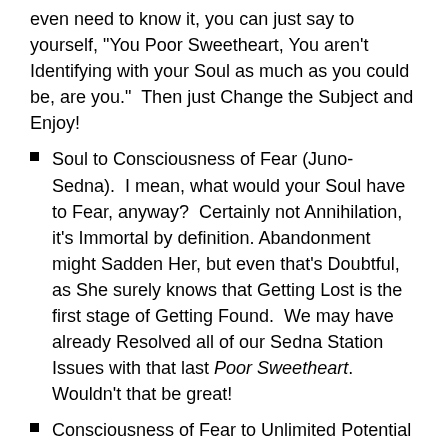even need to know it, you can just say to yourself, "You Poor Sweetheart, You aren't Identifying with your Soul as much as you could be, are you."  Then just Change the Subject and Enjoy!
Soul to Consciousness of Fear (Juno-Sedna).  I mean, what would your Soul have to Fear, anyway?  Certainly not Annihilation, it's Immortal by definition.  Abandonment might Sadden Her, but even that's Doubtful, as She surely knows that Getting Lost is the first stage of Getting Found.  We may have already Resolved all of our Sedna Station Issues with that last Poor Sweetheart.  Wouldn't that be great!
Consciousness of Fear to Unlimited Potential (dwarf planet Chaos).  Of course we've already Kegeled our Fear into Power, but even then, Unlimited is pretty Scary.  Reminds us of when we used to Imagine